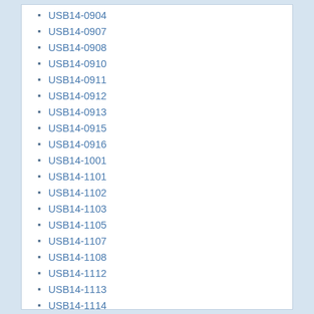USB14-0904
USB14-0907
USB14-0908
USB14-0910
USB14-0911
USB14-0912
USB14-0913
USB14-0915
USB14-0916
USB14-1001
USB14-1101
USB14-1102
USB14-1103
USB14-1105
USB14-1107
USB14-1108
USB14-1112
USB14-1113
USB14-1114
USB14-1115
USB14-1116
USB14-1117
USB14-1118
USB14-1119
USB14-1120